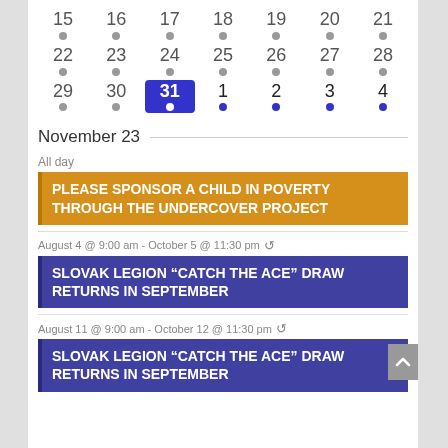[Figure (screenshot): Calendar grid showing dates 15-28 (rows 1-2) and 29-31 plus 1-4 (row 3). Date 31 is highlighted with a blue square (today). Dates 29-30 have gray dots; 31 has a white dot; 1-4 have blue dots. Dates 15-28 also have gray dots.]
November 23
All day
PLEASE SPONSOR A CHILD IN POVERTY THROUGH THE UNDERCOVER PROJECT
August 4 @ 9:00 am - October 5 @ 11:30 pm
SLOVAK LEGION “CATCH THE ACE” DRAW RETURNS IN SEPTEMBER
August 11 @ 9:00 am - October 12 @ 11:30 pm
SLOVAK LEGION “CATCH THE ACE” DRAW RETURNS IN SEPTEMBER